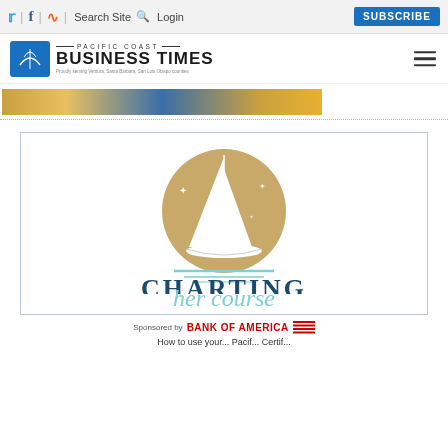Twitter | Facebook | RSS | Search Site | Login | SUBSCRIBE
[Figure (logo): Pacific Coast Business Times logo with blue emblem and text]
[Figure (photo): Partial photo strip showing people, cropped at top]
[Figure (illustration): Charting Her Course event logo: sailboat on gold circle with teal water lines, text CHARTING her course, sponsored by Bank of America]
Sponsored by Bank of America
How to... (partially visible text at bottom)